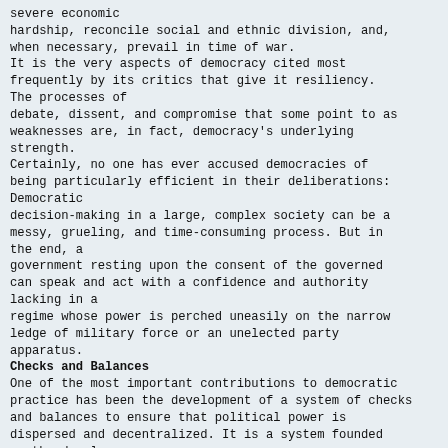severe economic hardship, reconcile social and ethnic division, and, when necessary, prevail in time of war. It is the very aspects of democracy cited most frequently by its critics that give it resiliency. The processes of debate, dissent, and compromise that some point to as weaknesses are, in fact, democracy's underlying strength. Certainly, no one has ever accused democracies of being particularly efficient in their deliberations: Democratic decision-making in a large, complex society can be a messy, grueling, and time-consuming process. But in the end, a government resting upon the consent of the governed can speak and act with a confidence and authority lacking in a regime whose power is perched uneasily on the narrow ledge of military force or an unelected party apparatus.
Checks and Balances
One of the most important contributions to democratic practice has been the development of a system of checks and balances to ensure that political power is dispersed and decentralized. It is a system founded on the deeply held belief that government is best when its potential for abuse is curbed and when it is held as close to the people as possible. As a general term, checks and balances has two